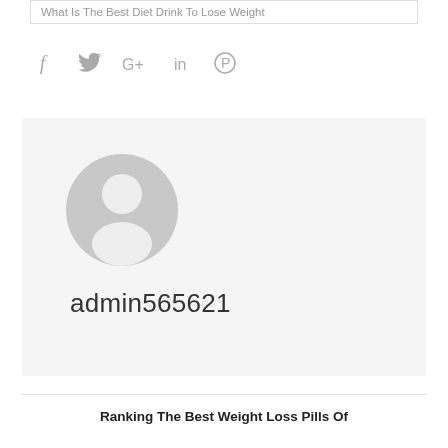What Is The Best Diet Drink To Lose Weight
[Figure (other): Social share icons: Facebook (f), Twitter bird, Google+ (G+), LinkedIn (in), Pinterest (P)]
[Figure (other): Default user avatar — grey circle with white silhouette of a person]
admin565621
Ranking The Best Weight Loss Pills Of